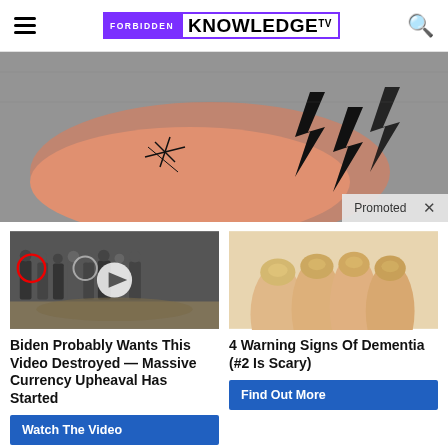Forbidden Knowledge TV
[Figure (photo): Hero image showing a foot with lightning bolt tattoos or symbols on it, close-up macro photo with a 'Promoted X' label overlay in the bottom right corner.]
[Figure (photo): Group of men in suits standing in a room, with a red circle highlighting one person and a video play button overlay. CIA seal on the floor visible.]
[Figure (photo): Close-up of fingernails with yellowish discoloration, suggesting a health-related article.]
Biden Probably Wants This Video Destroyed — Massive Currency Upheaval Has Started
Watch The Video
4 Warning Signs Of Dementia (#2 Is Scary)
Find Out More